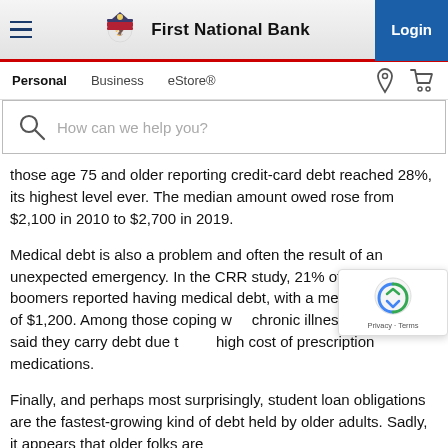First National Bank — Personal | Business | eStore®
[Figure (screenshot): First National Bank website navigation bar with hamburger menu, FNB logo, Login button, nav links (Personal, Business, eStore®), location and cart icons]
[Figure (screenshot): Search bar with magnifying glass icon and placeholder text 'How can we help you?']
those age 75 and older reporting credit-card debt reached 28%, its highest level ever. The median amount owed rose from $2,100 in 2010 to $2,700 in 2019.
Medical debt is also a problem and often the result of an unexpected emergency. In the CRR study, 21% of baby boomers reported having medical debt, with a median balance of $1,200. Among those coping with chronic illness, one in six said they carry debt due to the high cost of prescription medications.
Finally, and perhaps most surprisingly, student loan obligations are the fastest-growing kind of debt held by older adults. Sadly, it appears that older folks are